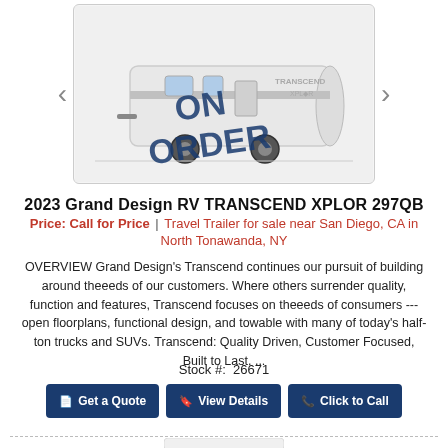[Figure (photo): Travel trailer RV (Grand Design Transcend Xplor) shown with 'ON ORDER' overlay text in blue]
2023 Grand Design RV TRANSCEND XPLOR 297QB
Price: Call for Price | Travel Trailer for sale near San Diego, CA in North Tonawanda, NY
OVERVIEW Grand Design's Transcend continues our pursuit of building around theeeds of our customers. Where others surrender quality, function and features, Transcend focuses on theeeds of consumers --- open floorplans, functional design, and towable with many of today's half-ton trucks and SUVs. Transcend: Quality Driven, Customer Focused, Built to Last. ...
Stock #: 26671
Get a Quote | View Details | Click to Call